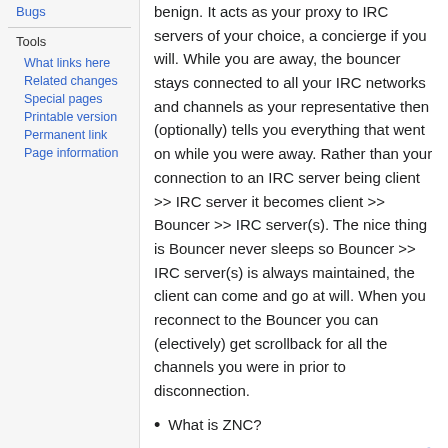Bugs
Tools
What links here
Related changes
Special pages
Printable version
Permanent link
Page information
benign. It acts as your proxy to IRC servers of your choice, a concierge if you will. While you are away, the bouncer stays connected to all your IRC networks and channels as your representative then (optionally) tells you everything that went on while you were away. Rather than your connection to an IRC server being client >> IRC server it becomes client >> Bouncer >> IRC server(s). The nice thing is Bouncer never sleeps so Bouncer >> IRC server(s) is always maintained, the client can come and go at will. When you reconnect to the Bouncer you can (electively) get scrollback for all the channels you were in prior to disconnection.
What is ZNC?
ZNC is a popular IRC bouncer. See ZNC Along with PsyBNC psyBNC